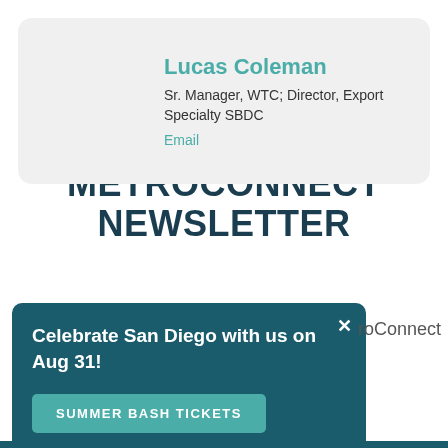[Figure (photo): Circular profile photo of Lucas Coleman, a man in a suit with a red tie, smiling]
Lucas Coleman
Sr. Manager, WTC; Director, Export Specialty SBDC
Email
METROCONNECT NEWSLETTER
Celebrate San Diego with us on Aug 31!
SUMMER BASH TICKETS
roConnect